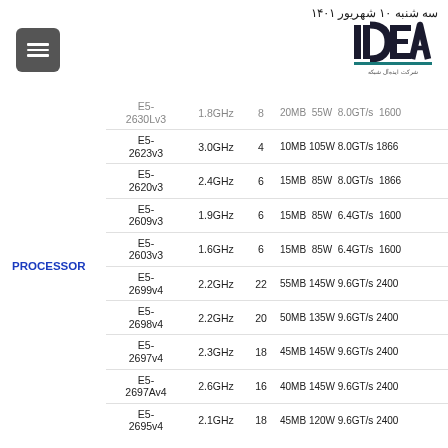سه شنبه ۱۰ شهریور ۱۴۰۱
[Figure (logo): IDEAL company logo - stylized letters IDEAL in dark color with small text below]
|  | Model | Freq | Cores | Specs |
| --- | --- | --- | --- | --- |
| PROCESSOR | E5-2630Lv3 | 1.8GHz | 8 | 20MB 55W 8.0GT/s 1600 |
|  | E5-2623v3 | 3.0GHz | 4 | 10MB 105W 8.0GT/s 1866 |
|  | E5-2620v3 | 2.4GHz | 6 | 15MB 85W 8.0GT/s 1866 |
|  | E5-2609v3 | 1.9GHz | 6 | 15MB 85W 6.4GT/s 1600 |
|  | E5-2603v3 | 1.6GHz | 6 | 15MB 85W 6.4GT/s 1600 |
|  | E5-2699v4 | 2.2GHz | 22 | 55MB 145W 9.6GT/s 2400 |
|  | E5-2698v4 | 2.2GHz | 20 | 50MB 135W 9.6GT/s 2400 |
|  | E5-2697v4 | 2.3GHz | 18 | 45MB 145W 9.6GT/s 2400 |
|  | E5-2697Av4 | 2.6GHz | 16 | 40MB 145W 9.6GT/s 2400 |
|  | E5-2695v4 | 2.1GHz | 18 | 45MB 120W 9.6GT/s 2400 |